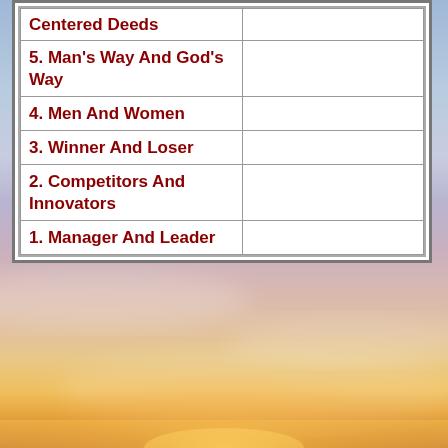[Figure (photo): Sunset/sunrise sky with warm orange, pink, and purple tones and soft clouds in the lower half of the page]
| Chapter |  |
| --- | --- |
| Centered Deeds |  |
| 5. Man's Way And God's Way |  |
| 4. Men And Women |  |
| 3. Winner And Loser |  |
| 2. Competitors And Innovators |  |
| 1. Manager And Leader |  |